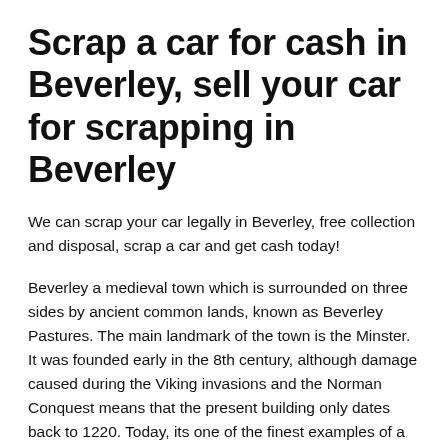Scrap a car for cash in Beverley, sell your car for scrapping in Beverley
We can scrap your car legally in Beverley, free collection and disposal, scrap a car and get cash today!
Beverley a medieval town which is surrounded on three sides by ancient common lands, known as Beverley Pastures. The main landmark of the town is the Minster. It was founded early in the 8th century, although damage caused during the Viking invasions and the Norman Conquest means that the present building only dates back to 1220. Today, its one of the finest examples of a Gothic church of cathedral size in Europe. Also founded in this era is St. Marys Church, which was initially a chapel of ease for the towns residents. Inside the church is a carving of the Jolly rabbit, which is said to have been the inspiration for the white rabbit in Lewis